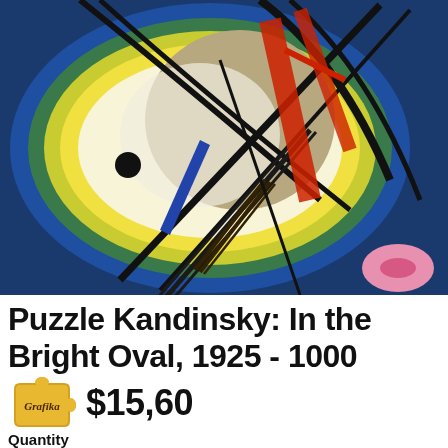[Figure (illustration): Painting by Kandinsky titled 'In the Bright Oval, 1925'. Abstract art showing a large bright oval (white/yellow glow) surrounded by blue and green concentric oval rings, with dramatic black diagonal lines and red geometric shapes crossing through the oval center, set against a dark blue background. A small pink ellipse appears at bottom right.]
Puzzle Kandinsky: In the Bright Oval, 1925 - 1000
[Figure (logo): Grafika brand logo: golden puzzle piece shape with a cursive 'Grafika' text inside in dark color]
$15,60
Quantity